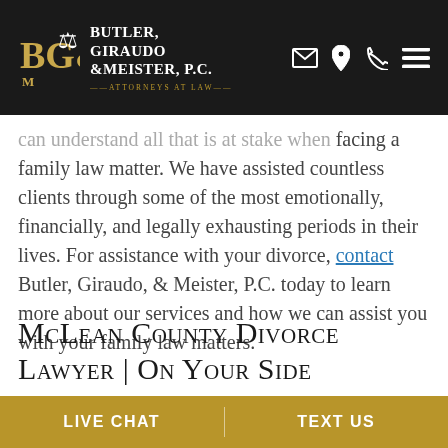Butler, Giraudo & Meister, P.C. — Attorneys at Law
can understand all that is at stake when facing a family law matter. We have assisted countless clients through some of the most emotionally, financially, and legally exhausting periods in their lives. For assistance with your divorce, contact Butler, Giraudo, & Meister, P.C. today to learn more about our services and how we can assist you with your family law matters.
McLean County Divorce Lawyer | On Your Side
LIVE CHAT   TEXT US